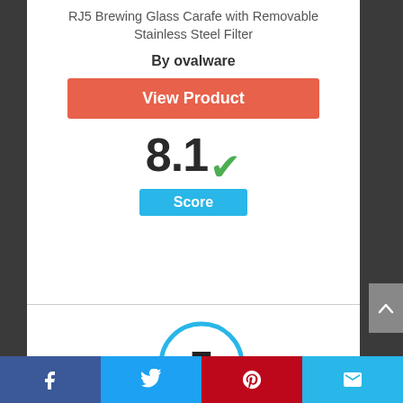RJ5 Brewing Glass Carafe with Removable Stainless Steel Filter
By ovalware
View Product
8.1 ✓ Score
[Figure (other): Circle badge with number 7 inside, outlined in blue]
Facebook | Twitter | Pinterest | Email social share bar